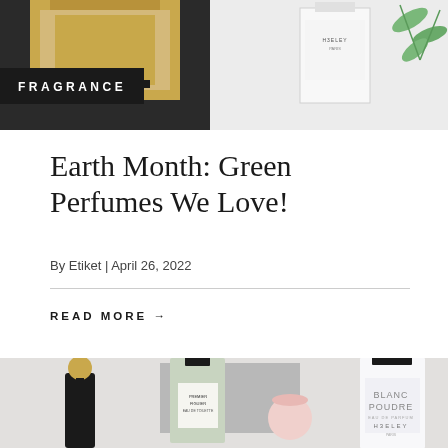[Figure (photo): Top portion of a fragrance article header image showing perfume bottles including a gold-capped bottle on the left and a Heeley Paris bottle on the right, with green leaves/plant stems visible]
FRAGRANCE
Earth Month: Green Perfumes We Love!
By Etiket | April 26, 2022
READ MORE →
[Figure (photo): Bottom image showing multiple perfume bottles: a black ornate bottle with gold ball stopper and tassel, a green rectangular bottle (Premier Figuier), a small pink bow-topped bottle, and a Heeley Paris Blanc Poudre Eau de Parfum bottle]